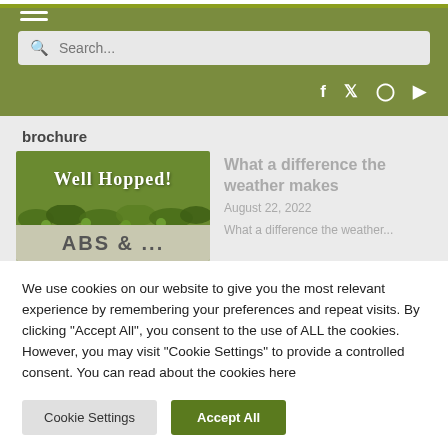Navigation bar with hamburger menu, search bar, and social icons (Facebook, Twitter, Instagram, YouTube)
brochure
[Figure (photo): Well Hopped! brochure cover image with hop decorations]
What a difference the weather makes
August 22, 2022
What a difference the weather...
We use cookies on our website to give you the most relevant experience by remembering your preferences and repeat visits. By clicking “Accept All”, you consent to the use of ALL the cookies. However, you may visit “Cookie Settings” to provide a controlled consent. You can read about the cookies here
Cookie Settings
Accept All